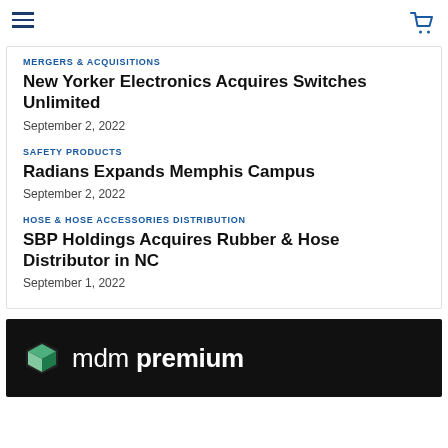≡ [cart icon]
MERGERS & ACQUISITIONS
New Yorker Electronics Acquires Switches Unlimited
September 2, 2022
SAFETY PRODUCTS
Radians Expands Memphis Campus
September 2, 2022
HOSE & HOSE ACCESSORIES DISTRIBUTION
SBP Holdings Acquires Rubber & Hose Distributor in NC
September 1, 2022
[Figure (logo): mdm premium advertisement banner with cube logo on dark background]